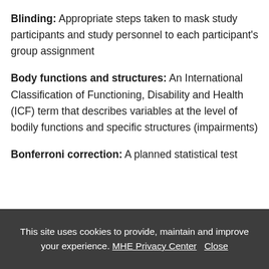Blinding: Appropriate steps taken to mask study participants and study personnel to each participant's group assignment
Body functions and structures: An International Classification of Functioning, Disability and Health (ICF) term that describes variables at the level of bodily functions and specific structures (impairments)
Bonferroni correction: A planned statistical test
This site uses cookies to provide, maintain and improve your experience. MHE Privacy Center Close